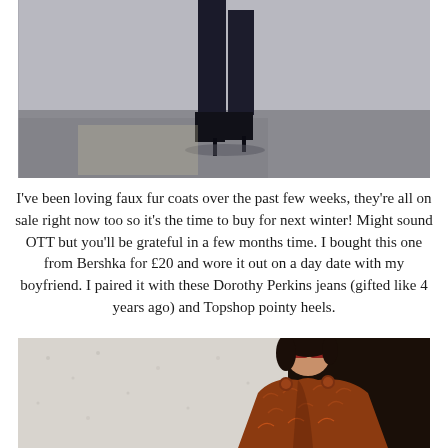[Figure (photo): Street photo showing person's lower body — dark jeans and black high heel boots on a sidewalk against a grey wall]
I've been loving faux fur coats over the past few weeks, they're all on sale right now too so it's the time to buy for next winter! Might sound OTT but you'll be grateful in a few months time. I bought this one from Bershka for £20 and wore it out on a day date with my boyfriend. I paired it with these Dorothy Perkins jeans (gifted like 4 years ago) and Topshop pointy heels.
[Figure (photo): Close-up portrait of a woman wearing a rust/orange faux fur coat with pom-pom details, photographed against a white textured wall with dark background on the right]